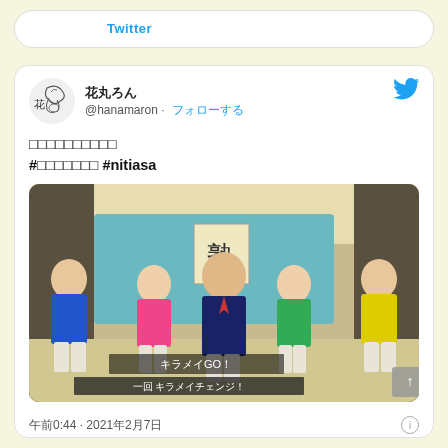Twitter
[Figure (screenshot): Tweet card from @hanamaron showing Japanese text and a photo of five people in colorful costumes in a TV studio setting with Japanese text overlay キラメイGO！ and キラメイチェンジ！]
午前0:44 · 2021年2月7日